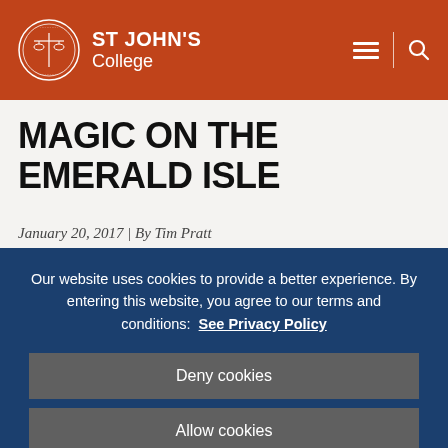ST JOHN'S College
MAGIC ON THE EMERALD ISLE
January 20, 2017 | By Tim Pratt
Our website uses cookies to provide a better experience. By entering this website, you agree to our terms and conditions: See Privacy Policy
Deny cookies
Allow cookies